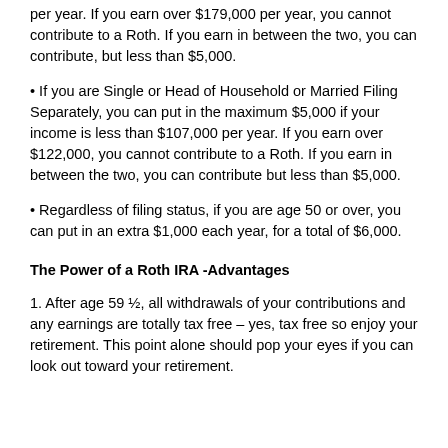per year. If you earn over $179,000 per year, you cannot contribute to a Roth. If you earn in between the two, you can contribute, but less than $5,000.
• If you are Single or Head of Household or Married Filing Separately, you can put in the maximum $5,000 if your income is less than $107,000 per year. If you earn over $122,000, you cannot contribute to a Roth. If you earn in between the two, you can contribute but less than $5,000.
• Regardless of filing status, if you are age 50 or over, you can put in an extra $1,000 each year, for a total of $6,000.
The Power of a Roth IRA -Advantages
1. After age 59 ½, all withdrawals of your contributions and any earnings are totally tax free – yes, tax free so enjoy your retirement. This point alone should pop your eyes if you can look out toward your retirement.